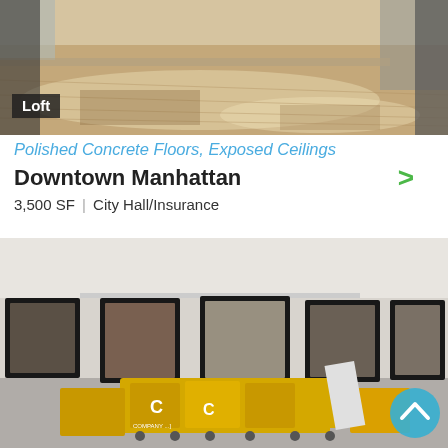[Figure (photo): Interior photo of a loft space with polished hardwood floors and exposed ceilings, large open room with windows]
Loft
Polished Concrete Floors, Exposed Ceilings
Downtown Manhattan
3,500 SF | City Hall/Insurance
[Figure (photo): Interior photo of an empty commercial space under construction/renovation with multiple windows and yellow equipment/containers on the floor, with a scroll-to-top button overlay]